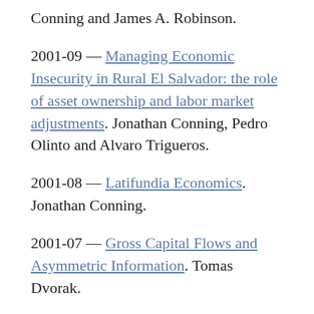Conning and James A. Robinson.
2001-09 — Managing Economic Insecurity in Rural El Salvador: the role of asset ownership and labor market adjustments. Jonathan Conning, Pedro Olinto and Alvaro Trigueros.
2001-08 — Latifundia Economics. Jonathan Conning.
2001-07 — Gross Capital Flows and Asymmetric Information. Tomas Dvorak.
2001-06 — Reform and Growth in Latin America: All Pain, No Gain? Peter Montiel